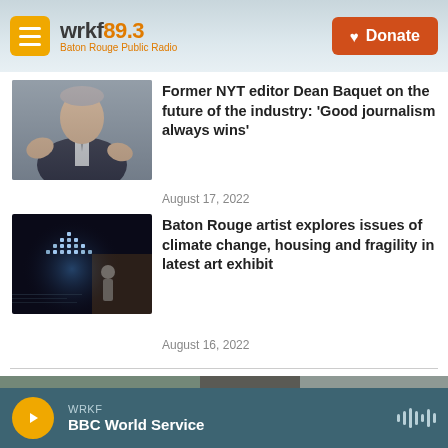[Figure (screenshot): WRKF 89.3 Baton Rouge Public Radio website header with hamburger menu, logo, and orange Donate button with heart icon]
[Figure (photo): Headshot of Dean Baquet, older man in dark suit gesturing with hands]
Former NYT editor Dean Baquet on the future of the industry: 'Good journalism always wins'
August 17, 2022
[Figure (photo): Art exhibit photo showing a person standing in front of a pyramid structure made of small lit objects in a dark room]
Baton Rouge artist explores issues of climate change, housing and fragility in latest art exhibit
August 16, 2022
[Figure (photo): Blurred background image visible at bottom of page]
WRKF
BBC World Service